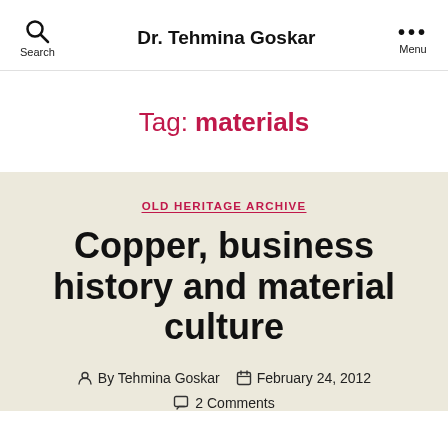Dr. Tehmina Goskar
Tag: materials
OLD HERITAGE ARCHIVE
Copper, business history and material culture
By Tehmina Goskar   February 24, 2012
2 Comments